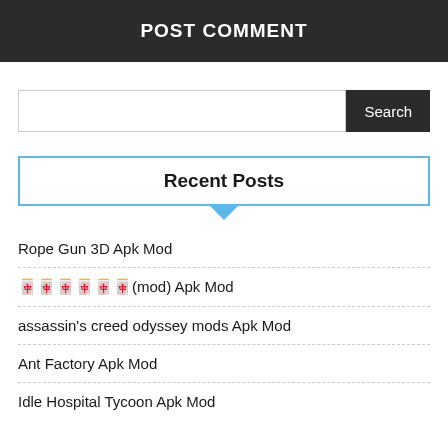POST COMMENT
[Figure (screenshot): Search input field with Search button]
Recent Posts
Rope Gun 3D Apk Mod
🀄🀄🀄🀄🀄🀄(mod) Apk Mod
assassin's creed odyssey mods Apk Mod
Ant Factory Apk Mod
Idle Hospital Tycoon Apk Mod